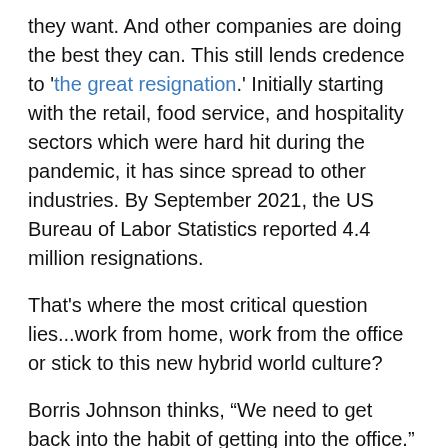they want. And other companies are doing the best they can. This still lends credence to 'the great resignation.' Initially starting with the retail, food service, and hospitality sectors which were hard hit during the pandemic, it has since spread to other industries. By September 2021, the US Bureau of Labor Statistics reported 4.4 million resignations.
That's where the most critical question lies...work from home, work from the office or stick to this new hybrid world culture?
Borris Johnson thinks, “We need to get back into the habit of getting into the office.” Because his experience of working from home “is you spend an awful lot of time making another cup of coffee and then, you know, getting up, walking very slowly to the fridge, hacking off a small piece of cheese, then